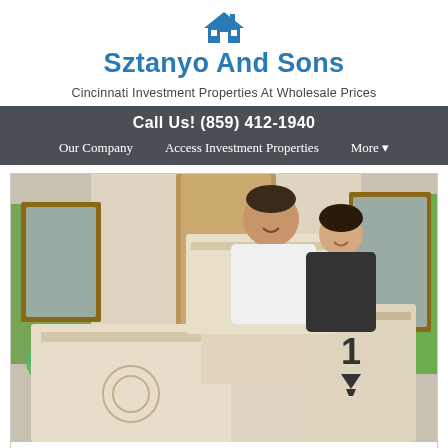[Figure (logo): Blue house icon with roof and chimney]
Sztanyo And Sons
Cincinnati Investment Properties At Wholesale Prices
Call Us! (859) 412-1940
Our Company
Access Investment Properties
More ▾
[Figure (photo): A couple carrying moving boxes inside a home, smiling. Large cardboard boxes in foreground with a green plant and windows visible in background.]
Great Deals On Great Homes: Getting huge discounts